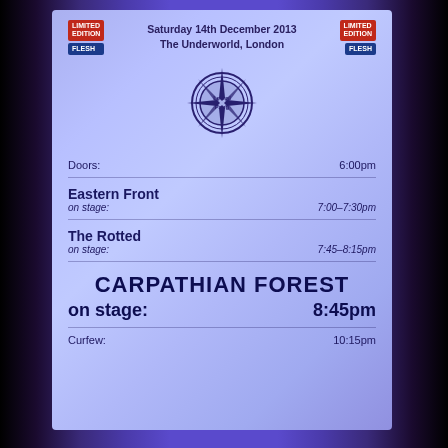Saturday 14th December 2013
The Underworld, London
[Figure (logo): Compass/star-shaped logo with text 'Lethal Fang' or similar band/venue logo in dark blue on light blue background]
Doors:	6:00pm
Eastern Front
on stage:	7:00–7:30pm
The Rotted
on stage:	7:45–8:15pm
CARPATHIAN FOREST
on stage:	8:45pm
Curfew:	10:15pm